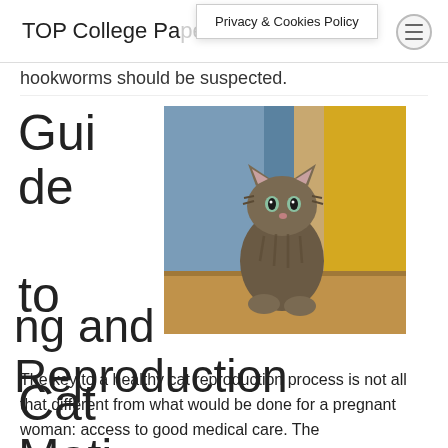TOP College Papers
Privacy & Cookies Policy
hookworms should be suspected.
Guide to Cat Mating and Reproduction
[Figure (photo): A tabby kitten sitting upright between a blue curtain and a yellow surface, looking upward.]
The key to a healthy cat reproduction process is not all that different from what would be done for a pregnant woman: access to good medical care. The